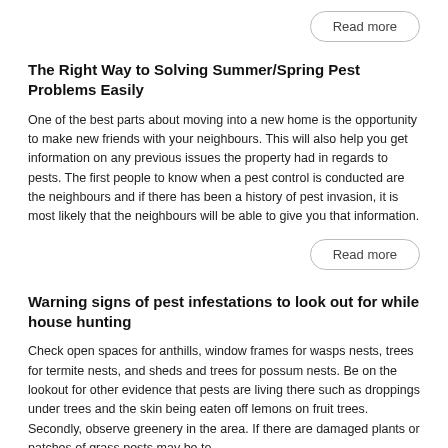Read more
The Right Way to Solving Summer/Spring Pest Problems Easily
One of the best parts about moving into a new home is the opportunity to make new friends with your neighbours. This will also help you get information on any previous issues the property had in regards to pests. The first people to know when a pest control is conducted are the neighbours and if there has been a history of pest invasion, it is most likely that the neighbours will be able to give you that information.
Read more
Warning signs of pest infestations to look out for while house hunting
Check open spaces for anthills, window frames for wasps nests, trees for termite nests, and sheds and trees for possum nests. Be on the lookout for other evidence that pests are living there such as droppings under trees and the skin being eaten off lemons on fruit trees. Secondly, observe greenery in the area. If there are damaged plants or patches of grass pests may be to